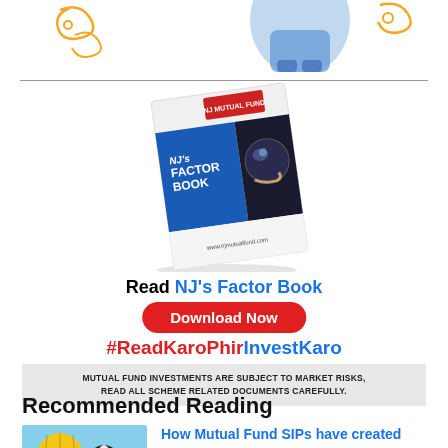[Figure (illustration): Top decorative illustration with a person in denim jacket and orange/yellow graphic elements on white background]
[Figure (illustration): NJ's Factor Book cover image showing a tilted booklet with blue and dark cover, NJ Mutual Fund logo, and text 'NJ's Factor Book']
Read NJ's Factor Book
Download Now
#ReadKaroPhirInvestKaro
MUTUAL FUND INVESTMENTS ARE SUBJECT TO MARKET RISKS, READ ALL SCHEME RELATED DOCUMENTS CAREFULLY.
Recommended Reading
[Figure (photo): Photo of colorful hot air balloons in a blue sky]
How Mutual Fund SIPs have created wealth over the last 15 years: Large...